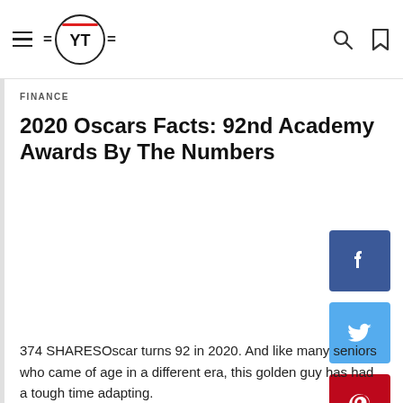YT — Finance news website navigation bar
FINANCE
2020 Oscars Facts: 92nd Academy Awards By The Numbers
374 SHARESOscar turns 92 in 2020. And like many seniors who came of age in a different era, this golden guy has had a tough time adapting.